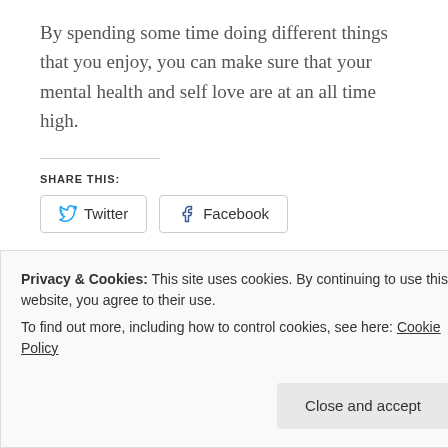By spending some time doing different things that you enjoy, you can make sure that your mental health and self love are at an all time high.
SHARE THIS:
[Figure (other): Twitter and Facebook share buttons]
[Figure (other): Like button with 9 blogger avatar thumbnails]
23 bloggers like this.
Privacy & Cookies: This site uses cookies. By continuing to use this website, you agree to their use.
To find out more, including how to control cookies, see here: Cookie Policy